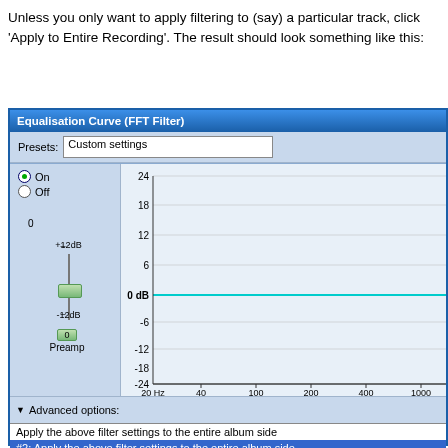Unless you only want to apply filtering to (say) a particular track, click 'Apply to Entire Recording'. The result should look something like this:
[Figure (screenshot): Screenshot of Equalisation Curve (FFT Filter) dialog window showing a flat 0dB equalization curve across the frequency range (20 Hz to 1000+ Hz), with presets set to 'Custom settings', On/Off radio buttons, a Preamp slider at 0, and Advanced options showing two list items for applying filter settings to the entire album side.]